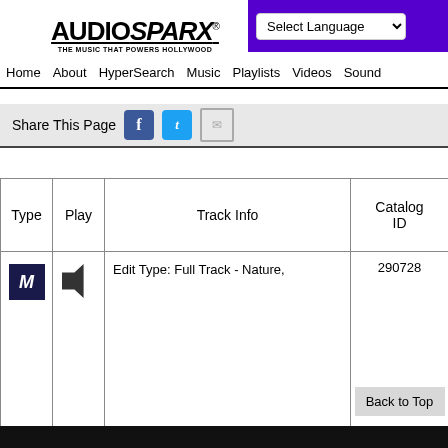AUDIOSPARX - THE MUSIC THAT POWERS HOLLYWOOD
[Figure (screenshot): AudioSparx logo with text 'THE MUSIC THAT POWERS HOLLYWOOD']
[Figure (screenshot): Select Language dropdown and search bar on purple background]
Home  About  HyperSearch  Music  Playlists  Videos  Sound
Share This Page
| Type | Play | Track Info | Catalog ID |
| --- | --- | --- | --- |
| [icon] | [speaker] | Edit Type: Full Track - Nature, | 290728 |
Back to Top